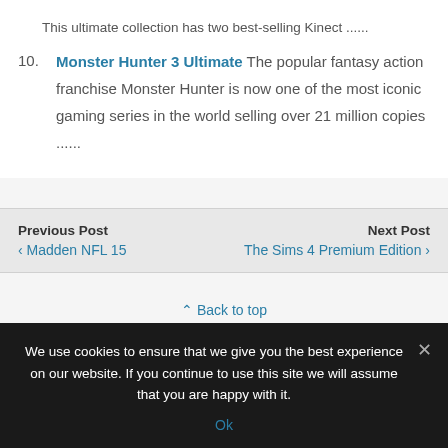This ultimate collection has two best-selling Kinect ......
10. Monster Hunter 3 Ultimate The popular fantasy action franchise Monster Hunter is now one of the most iconic gaming series in the world selling over 21 million copies ......
Previous Post
‹ Madden NFL 15
Next Post
The Sims 4 Premium Edition ›
⇑ Back to top
We use cookies to ensure that we give you the best experience on our website. If you continue to use this site we will assume that you are happy with it.
Ok